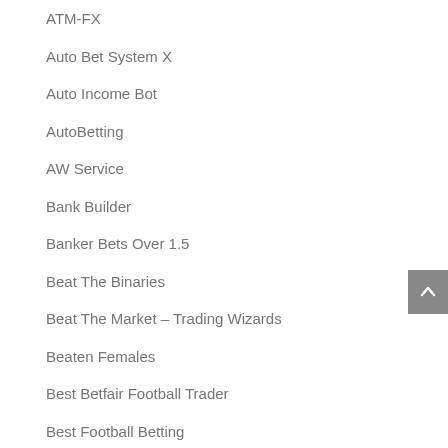ATM-FX
Auto Bet System X
Auto Income Bot
AutoBetting
AW Service
Bank Builder
Banker Bets Over 1.5
Beat The Binaries
Beat The Market – Trading Wizards
Beaten Females
Best Betfair Football Trader
Best Football Betting
Best Lays